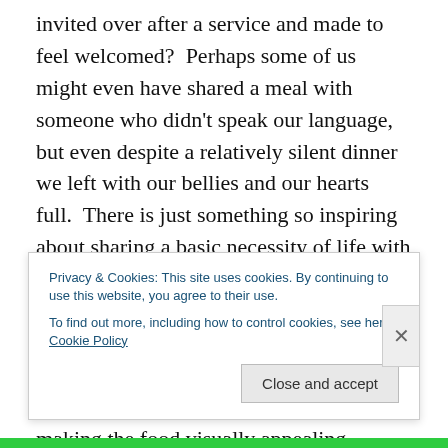invited over after a service and made to feel welcomed?  Perhaps some of us might even have shared a meal with someone who didn't speak our language, but even despite a relatively silent dinner we left with our bellies and our hearts full.  There is just something so inspiring about sharing a basic necessity of life with one another.  Yet, it isn't just in the mere fact that food is placed on the table, bur rather the hospitality and care the host usually extends: menu planning, using the best china, tastefully decorating the table, making the food visually appealing, buying flowers, cleaning the house, clearing away the
Privacy & Cookies: This site uses cookies. By continuing to use this website, you agree to their use.
To find out more, including how to control cookies, see here: Cookie Policy
Close and accept